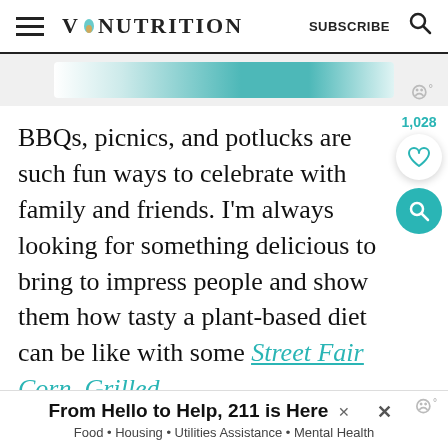V:NUTRITION   SUBSCRIBE
[Figure (screenshot): Partial image strip showing a teal/green decorative banner, partially cropped at top]
BBQs, picnics, and potlucks are such fun ways to celebrate with family and friends. I'm always looking for something delicious to bring to impress people and show them how tasty a plant-based diet can be like with some Street Fair Corn, Grilled Tofu Steaks, or Ramen Noodle Salad
[Figure (infographic): Side widget showing 1,028 saves count, heart button, and teal search button]
From Hello to Help, 211 is Here
Food • Housing • Utilities Assistance • Mental Health